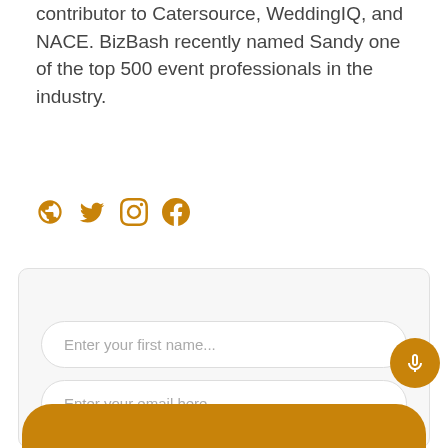contributor to Catersource, WeddingIQ, and NACE. BizBash recently named Sandy one of the top 500 event professionals in the industry.
[Figure (infographic): Four social media icons: globe/website, Twitter bird, Instagram, Facebook — all in orange/amber color]
Sign up to get updates from us
Enter your first name...
Enter your email here...
By signing up, you agree to receive email from this podc...